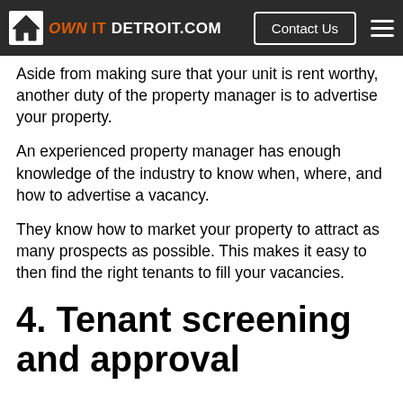OWN IT DETROIT.COM | Contact Us
Aside from making sure that your unit is rent worthy, another duty of the property manager is to advertise your property.
An experienced property manager has enough knowledge of the industry to know when, where, and how to advertise a vacancy.
They know how to market your property to attract as many prospects as possible. This makes it easy to then find the right tenants to fill your vacancies.
4. Tenant screening and approval